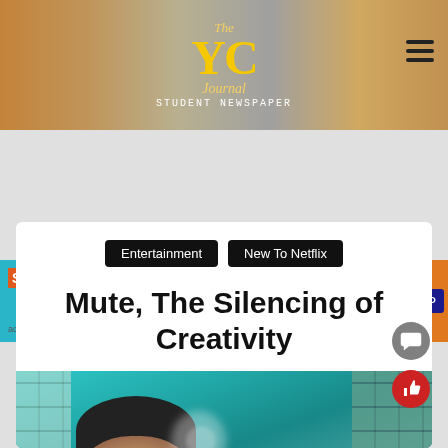The YC Journal – Student Newspaper
[Figure (screenshot): SNO ads banner: ADVERTISE HERE and support student journalism – GET STARTED button]
Entertainment | New To Netflix
Mute, The Silencing of Creativity
[Figure (photo): A person submerged underwater, face partially visible with bubbles, teal/green background]